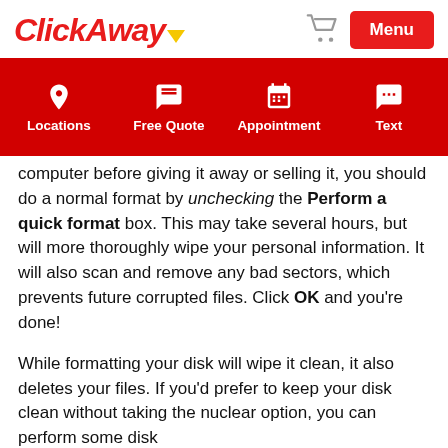ClickAway — Menu
[Figure (infographic): ClickAway website navigation bar with Locations, Free Quote, Appointment, Text options on red background]
computer before giving it away or selling it, you should do a normal format by unchecking the Perform a quick format box. This may take several hours, but will more thoroughly wipe your personal information. It will also scan and remove any bad sectors, which prevents future corrupted files. Click OK and you're done!
While formatting your disk will wipe it clean, it also deletes your files. If you'd prefer to keep your disk clean without taking the nuclear option, you can perform some disk